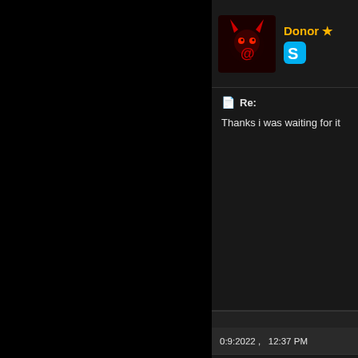[Figure (screenshot): Forum post section - top user avatar area with dark demon/monster avatar and Donor badge with Skype icon]
Re:
Thanks i was waiting for it
0:9:2022 ,   12:37 PM
[Figure (photo): Forum user avatar: Desmeules - cartoon blond boy with crossed arms (Dennis the Menace style)]
Desmeules • Junior Member ★★
Re: Contagion 2020 ts xv
Thanks a lot, it works great!